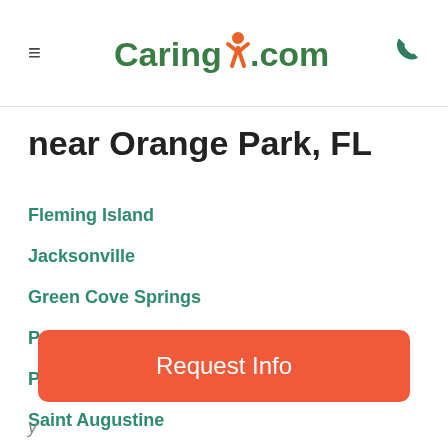≡  Caring.com  📞
near Orange Park, FL
Fleming Island
Jacksonville
Green Cove Springs
Ponte Vedra
Ponte Vedra Beach
Saint Augustine
Request Info